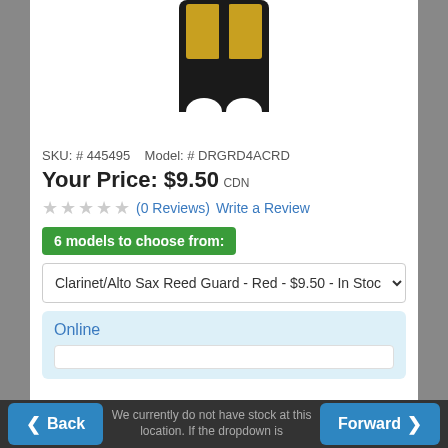[Figure (photo): Product photo of a black and gold reed guard/clarinet-alto sax reed guard, viewed from above, cropped at top]
SKU: # 445495    Model: # DRGRD4ACRD
Your Price: $9.50 CDN
☆☆☆☆☆ (0 Reviews)  Write a Review
6 models to choose from:
Clarinet/Alto Sax Reed Guard - Red - $9.50 - In Stock
Online
Back    We currently do not have stock at this    Forward